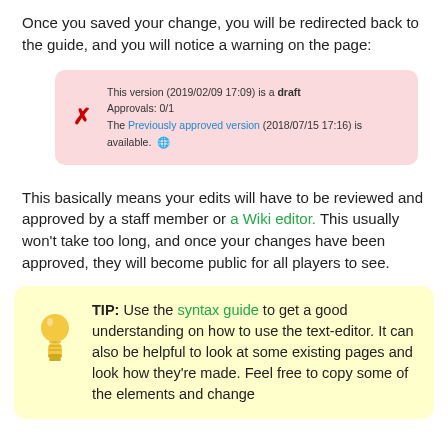Once you saved your change, you will be redirected back to the guide, and you will notice a warning on the page:
[Figure (screenshot): Warning box with pink background showing: 'This version (2019/02/09 17:09) is a draft. Approvals: 0/1. The Previously approved version (2018/07/15 17:16) is available.' with a red X icon on the left.]
This basically means your edits will have to be reviewed and approved by a staff member or a Wiki editor. This usually won't take too long, and once your changes have been approved, they will become public for all players to see.
[Figure (screenshot): Tip box with yellow background and lightbulb icon. TIP: Use the syntax guide to get a good understanding on how to use the text-editor. It can also be helpful to look at some existing pages and look how they're made. Feel free to copy some of the elements and change]